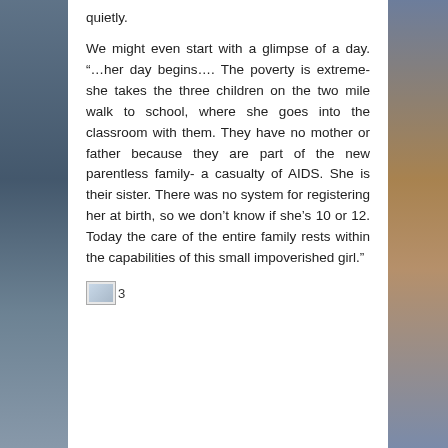quietly.
We might even start with a glimpse of a day. “…her day begins…. The poverty is extreme- she takes the three children on the two mile walk to school, where she goes into the classroom with them. They have no mother or father because they are part of the new parentless family- a casualty of AIDS. She is their sister. There was no system for registering her at birth, so we don’t know if she’s 10 or 12. Today the care of the entire family rests within the capabilities of this small impoverished girl.”
3